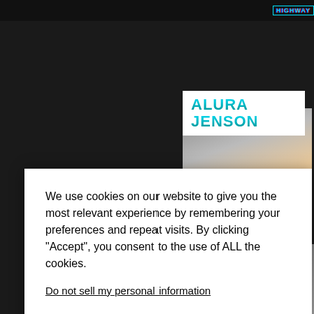[Figure (screenshot): Dark website background with small header bar showing 'HIGHWAY' label in cyan text]
ALURA JENSON
[Figure (photo): Blonde woman photo on dark background website]
We use cookies on our website to give you the most relevant experience by remembering your preferences and repeat visits. By clicking “Accept”, you consent to the use of ALL the cookies.
Do not sell my personal information.
Cookie settings
ACCEPT